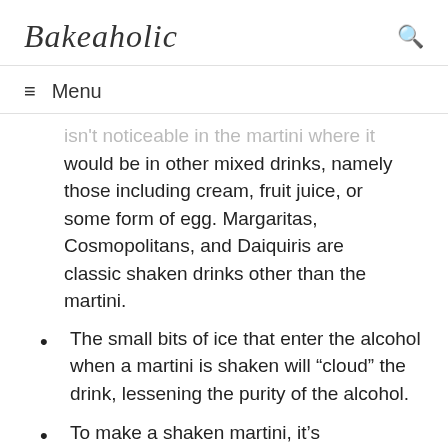Bakeaholic
≡  Menu
isn't noticeable in the martini where it would be in other mixed drinks, namely those including cream, fruit juice, or some form of egg. Margaritas, Cosmopolitans, and Daiquiris are classic shaken drinks other than the martini.
The small bits of ice that enter the alcohol when a martini is shaken will “cloud” the drink, lessening the purity of the alcohol.
To make a shaken martini, it's